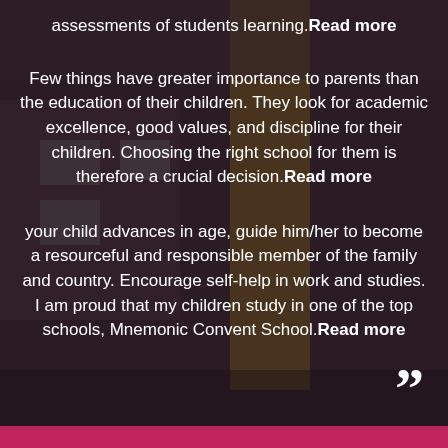assessments of students learning. Read more
Few things have greater importance to parents than the education of their children. They look for academic excellence, good values, and discipline for their children. Choosing the right school for them is therefore a crucial decision. Read more
your child advances in age, guide him/her to become a resourceful and responsible member of the family and country. Encourage self-help in work and studies. I am proud that my children study in one of the top schools, Mnemonic Convent School. Read more